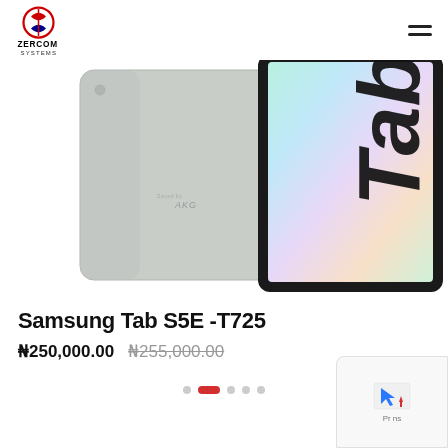Zercom Systems
[Figure (photo): Samsung Galaxy Tab S5E shown from two angles: back (silver/gray) showing AKG branding, and front (black frame with colorful iridescent display) showing 'Tab' text logo. Product photography on white background.]
Samsung Tab S5E -T725
₦250,000.00  ₦255,000.00 (strikethrough)